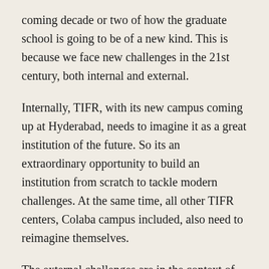coming decade or two of how the graduate school is going to be of a new kind. This is because we face new challenges in the 21st century, both internal and external.
Internally, TIFR, with its new campus coming up at Hyderabad, needs to imagine it as a great institution of the future. So its an extraordinary opportunity to build an institution from scratch to tackle modern challenges. At the same time, all other TIFR centers, Colaba campus included, also need to reimagine themselves.
The external challenges are in the context of demands of sustainable development and climate change. There is no more important time than